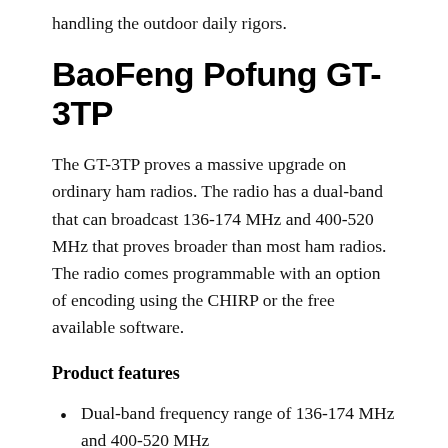handling the outdoor daily rigors.
BaoFeng Pofung GT-3TP
The GT-3TP proves a massive upgrade on ordinary ham radios. The radio has a dual-band that can broadcast 136-174 MHz and 400-520 MHz that proves broader than most ham radios. The radio comes programmable with an option of encoding using the CHIRP or the free available software.
Product features
Dual-band frequency range of 136-174 MHz and 400-520 MHz